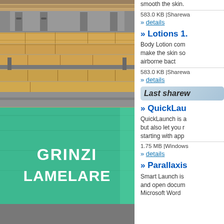[Figure (photo): Stacked lumber/wood beams on a pallet, with a green tarpaulin/banner reading 'GRINZI LAMELARE' in white text]
smooth the skin.
583.0 KB |Sharewa
» details
» Lotions 1.
Body Lotion com make the skin so airborne bact
583.0 KB |Sharewa
» details
Last sharew
» QuickLau
QuickLaunch is a but also let you r starting with app
1.75 MB |Windows
» details
» Parallaxis
Smart Launch is and open docum Microsoft Word